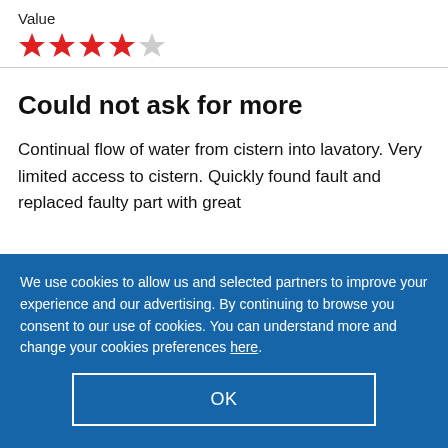Value
[Figure (other): 4 out of 5 red stars rating]
Could not ask for more
Continual flow of water from cistern into lavatory. Very limited access to cistern. Quickly found fault and replaced faulty part with great
We use cookies to allow us and selected partners to improve your experience and our advertising. By continuing to browse you consent to our use of cookies. You can understand more and change your cookies preferences here.
OK